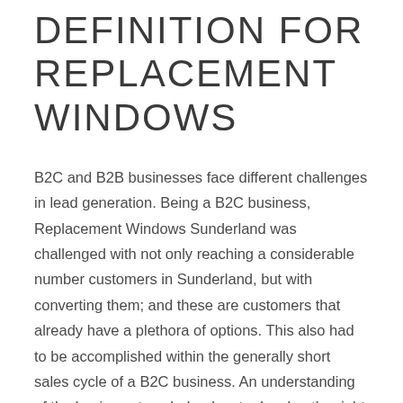DEFINITION FOR REPLACEMENT WINDOWS
B2C and B2B businesses face different challenges in lead generation. Being a B2C business, Replacement Windows Sunderland was challenged with not only reaching a considerable number customers in Sunderland, but with converting them; and these are customers that already have a plethora of options. This also had to be accomplished within the generally short sales cycle of a B2C business. An understanding of the business type helped us to develop the right kind of lead generation strategy to be...